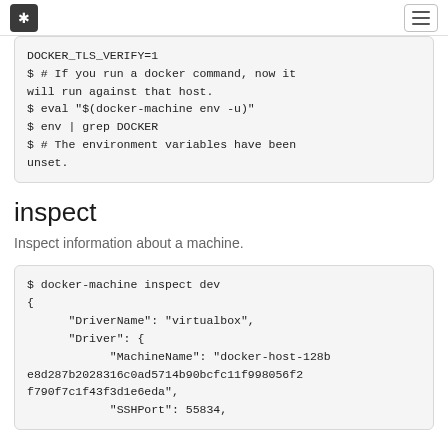* [logo] [hamburger menu]
DOCKER_TLS_VERIFY=1
$ # If you run a docker command, now it will run against that host.
$ eval "$(docker-machine env -u)"
$ env | grep DOCKER
$ # The environment variables have been unset.
inspect
Inspect information about a machine.
$ docker-machine inspect dev
{
      "DriverName": "virtualbox",
      "Driver": {
            "MachineName": "docker-host-128be8d287b2028316c0ad5714b90bcfc11f998056f2f790f7c1f43f3d1e6eda",
            "SSHPort": 55834,